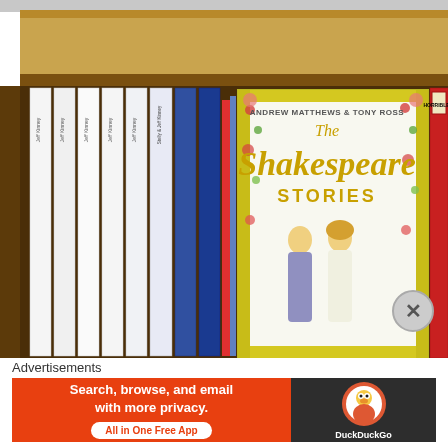[Figure (photo): Bookshelf photo showing 'The Shakespeare Stories' by Andrew Matthews & Tony Ross in the center, with several 'Diary of a Wimpy Kid' spines on the left and a 'Horrible Histories Blood-Curdling Box of Books' on the right.]
Advertisements
[Figure (screenshot): DuckDuckGo advertisement banner. Left orange section: 'Search, browse, and email with more privacy. All in One Free App'. Right dark section: DuckDuckGo duck logo and 'DuckDuckGo' text.]